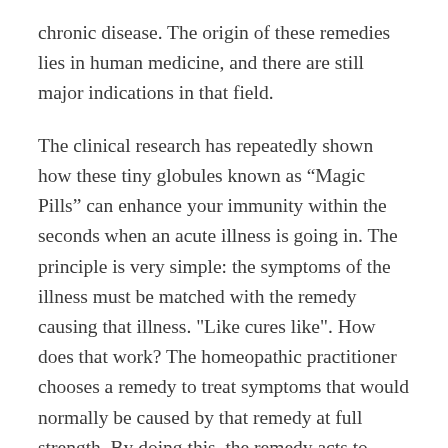chronic disease. The origin of these remedies lies in human medicine, and there are still major indications in that field.
The clinical research has repeatedly shown how these tiny globules known as “Magic Pills” can enhance your immunity within the seconds when an acute illness is going in. The principle is very simple: the symptoms of the illness must be matched with the remedy causing that illness. "Like cures like". How does that work? The homeopathic practitioner chooses a remedy to treat symptoms that would normally be caused by that remedy at full strength. By doing this, the remedy acts to stimulate the body's own systems to cure the problem. Choosing a homeopathic remedy involves studying a history that goes beyond the symptom at hand. Your symptom may be a cough, but selecting a remedy out of the many that treat coughs may have more to do with your fears or sleep patterns than the